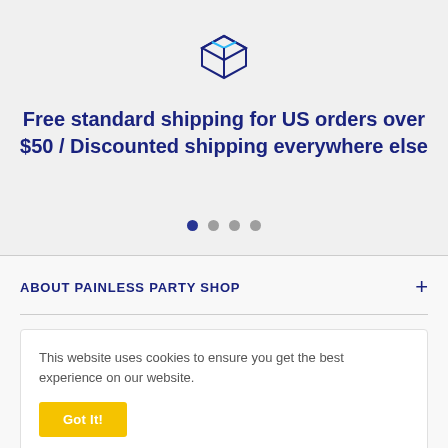[Figure (illustration): Dark blue outlined 3D box/package icon]
Free standard shipping for US orders over $50 / Discounted shipping everywhere else
Cookie consent notice: This website uses cookies to ensure you get the best experience on our website. Got It! button
ABOUT PAINLESS PARTY SHOP
Time-Saving product selection, Top Trends, Party Tips, and